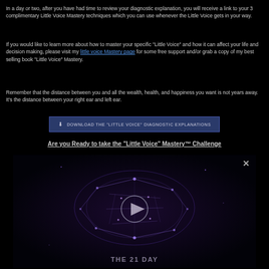In a day or two, after you have had time to review your diagnostic explanation, you will receive a link to your 3 complimentary Little Voice Mastery techniques which you can use whenever the Little Voice gets in your way.
If you would like to learn more about how to master your specific "Little Voice" and how it can affect your life and decision making, please visit my little voice Mastery page for some free support and/or grab a copy of my best selling book "Little Voice" Mastery.
Remember that the distance between you and all the wealth, health, and happiness you want is not years away. It's the distance between your right ear and left ear.
[Figure (other): Download button with icon: DOWNLOAD THE "LITTLE VOICE" DIAGNOSTIC EXPLANATIONS]
Are you Ready to take the "Little Voice" Mastery™ Challenge
[Figure (other): Video player showing a dark cosmic/neural network visualization with a play button in the center and text THE 21 DAY at the bottom. Close button (X) in top right corner.]